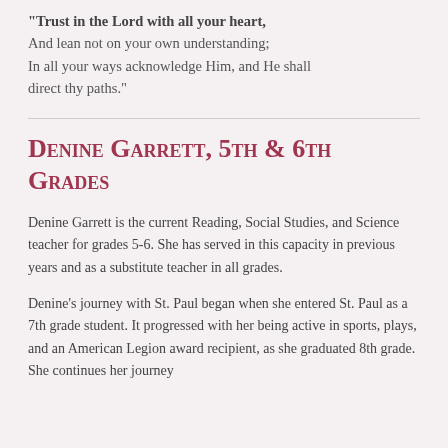"Trust in the Lord with all your heart, And lean not on your own understanding; In all your ways acknowledge Him, and He shall direct thy paths."
Denine Garrett, 5th & 6th Grades
Denine Garrett is the current Reading, Social Studies, and Science teacher for grades 5-6. She has served in this capacity in previous years and as a substitute teacher in all grades.
Denine's journey with St. Paul began when she entered St. Paul as a 7th grade student. It progressed with her being active in sports, plays, and an American Legion award recipient, as she graduated 8th grade. She continues her journey...